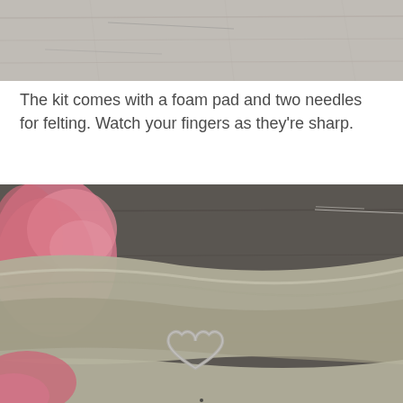[Figure (photo): Top portion of a photo showing a wooden surface, partially cropped at the top of the page.]
The kit comes with a foam pad and two needles for felting. Watch your fingers as they're sharp.
[Figure (photo): Photo showing pink wool fiber, folded olive/khaki fabric, and a metal heart-shaped cookie cutter on the fabric, on a dark wooden surface.]